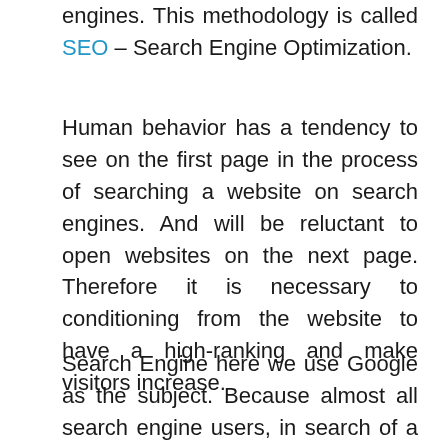engines. This methodology is called SEO – Search Engine Optimization.
Human behavior has a tendency to see on the first page in the process of searching a website on search engines. And will be reluctant to open websites on the next page. Therefore it is necessary to conditioning from the website to have a high-ranking and make visitors increase.
Search Engine here we use Google as the subject. Because almost all search engine users, in search of a website that sells its needs, always use it. So the SEO methodology